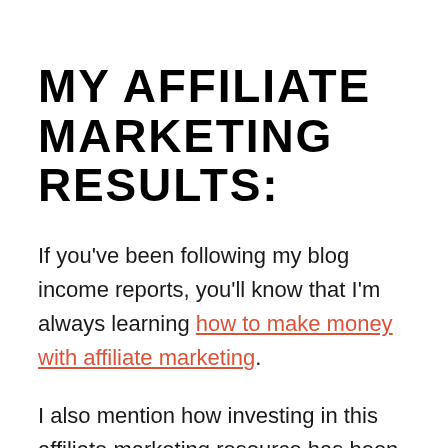MY AFFILIATE MARKETING RESULTS:
If you've been following my blog income reports, you'll know that I'm always learning how to make money with affiliate marketing.
I also mention how investing in this affiliate marketing resource has been a total game-changer for this blog —